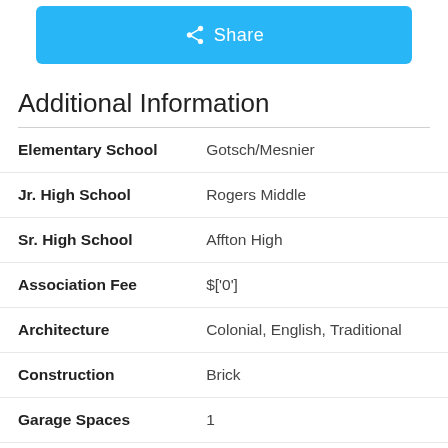[Figure (other): Blue Share button with share icon at the top of the page]
Additional Information
| Field | Value |
| --- | --- |
| Elementary School | Gotsch/Mesnier |
| Jr. High School | Rogers Middle |
| Sr. High School | Affton High |
| Association Fee | $['0'] |
| Architecture | Colonial, English, Traditional |
| Construction | Brick |
| Garage Spaces | 1 |
| Parking | Attached Garage, Garage Door |